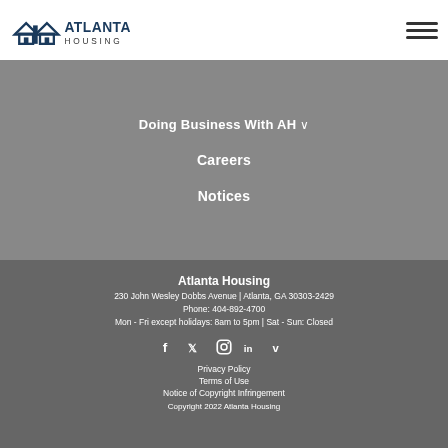[Figure (logo): Atlanta Housing logo with house icon and AH initials in dark blue, with 'ATLANTA HOUSING' text]
Doing Business With AH ∨
Careers
Notices
Atlanta Housing
230 John Wesley Dobbs Avenue | Atlanta, GA 30303-2429
Phone: 404-892-4700
Mon - Fri except holidays: 8am to 5pm | Sat - Sun: Closed
[Figure (other): Social media icons row: Facebook, Twitter, Instagram, LinkedIn, Vimeo]
Privacy Policy
Terms of Use
Notice of Copyright Infringement
Copyright 2022 Atlanta Housing